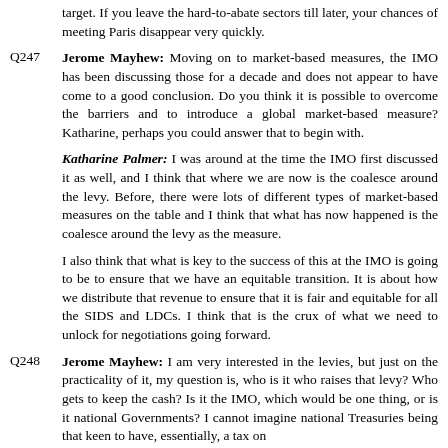target. If you leave the hard-to-abate sectors till later, your chances of meeting Paris disappear very quickly.
Q247    Jerome Mayhew: Moving on to market-based measures, the IMO has been discussing those for a decade and does not appear to have come to a good conclusion. Do you think it is possible to overcome the barriers and to introduce a global market-based measure? Katharine, perhaps you could answer that to begin with.
Katharine Palmer: I was around at the time the IMO first discussed it as well, and I think that where we are now is the coalesce around the levy. Before, there were lots of different types of market-based measures on the table and I think that what has now happened is the coalesce around the levy as the measure.
I also think that what is key to the success of this at the IMO is going to be to ensure that we have an equitable transition. It is about how we distribute that revenue to ensure that it is fair and equitable for all the SIDS and LDCs. I think that is the crux of what we need to unlock for negotiations going forward.
Q248    Jerome Mayhew: I am very interested in the levies, but just on the practicality of it, my question is, who is it who raises that levy? Who gets to keep the cash? Is it the IMO, which would be one thing, or is it national Governments? I cannot imagine national Treasuries being that keen to have, essentially, a tax on